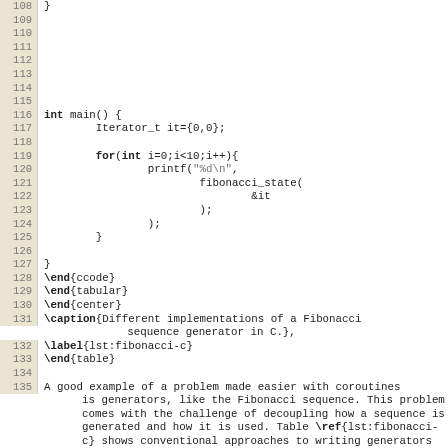Code listing lines 108-135 showing C code and LaTeX markup for Fibonacci sequence generator, followed by explanatory text.